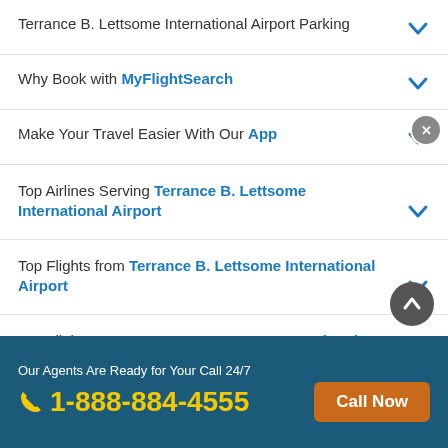Terrance B. Lettsome International Airport Parking
Why Book with MyFlightSearch
Make Your Travel Easier With Our App
Top Airlines Serving Terrance B. Lettsome International Airport
Top Flights from Terrance B. Lettsome International Airport
Top Flights to Terrance B. Lettsome International Airport
Our Agents Are Ready for Your Call 24/7
1-888-884-4555
Call Now